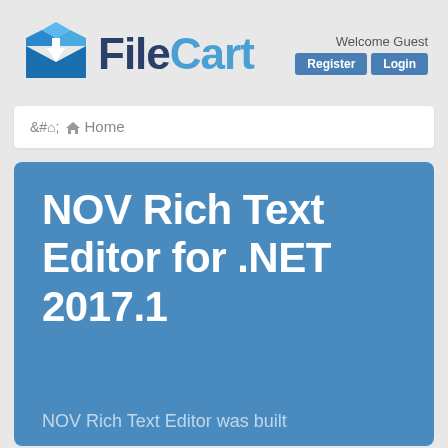[Figure (logo): FileCart logo with blue box icon and FileCart text]
Welcome Guest
Register  Login
Home
NOV Rich Text Editor for .NET 2017.1
NOV Rich Text Editor was built